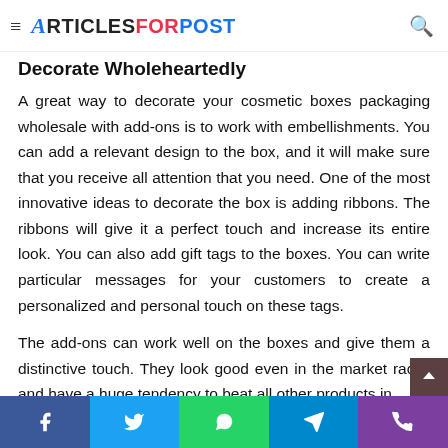ArticlesForPost
Decorate Wholeheartedly
A great way to decorate your cosmetic boxes packaging wholesale with add-ons is to work with embellishments. You can add a relevant design to the box, and it will make sure that you receive all attention that you need. One of the most innovative ideas to decorate the box is adding ribbons. The ribbons will give it a perfect touch and increase its entire look. You can also add gift tags to the boxes. You can write particular messages for your customers to create a personalized and personal touch on these tags.
The add-ons can work well on the boxes and give them a distinctive touch. They look good even in the market racks and have a huge tendency to beat all other products in
Facebook Twitter WhatsApp Telegram Phone